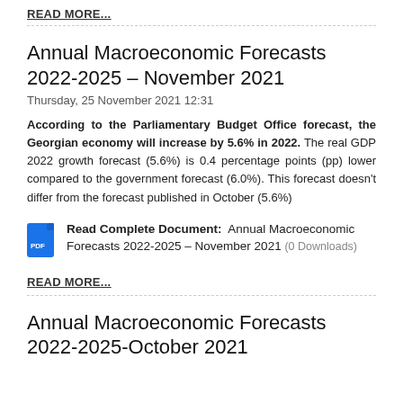READ MORE...
Annual Macroeconomic Forecasts 2022-2025 – November 2021
Thursday, 25 November 2021 12:31
According to the Parliamentary Budget Office forecast, the Georgian economy will increase by 5.6% in 2022. The real GDP 2022 growth forecast (5.6%) is 0.4 percentage points (pp) lower compared to the government forecast (6.0%). This forecast doesn't differ from the forecast published in October (5.6%)
Read Complete Document:  Annual Macroeconomic Forecasts 2022-2025 – November 2021 (0 Downloads)
READ MORE...
Annual Macroeconomic Forecasts 2022-2025-October 2021